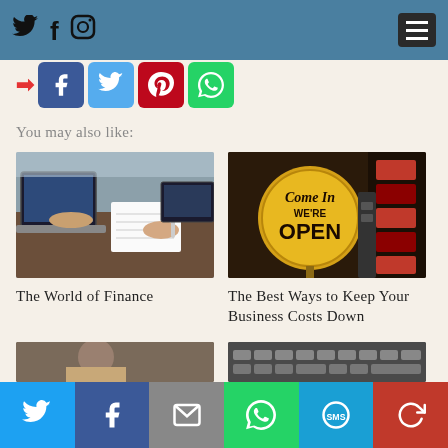Social media icons and hamburger menu navigation bar
[Figure (screenshot): Social share buttons row: arrow icon, Facebook (blue), Twitter (light blue), Pinterest (red), WhatsApp (green)]
You may also like:
[Figure (photo): Two people working at laptops and writing on paper — finance/business meeting]
The World of Finance
[Figure (photo): Come In We're OPEN sign in a store window]
The Best Ways to Keep Your Business Costs Down
Bottom share bar: Twitter, Facebook, Email, WhatsApp, SMS, Share